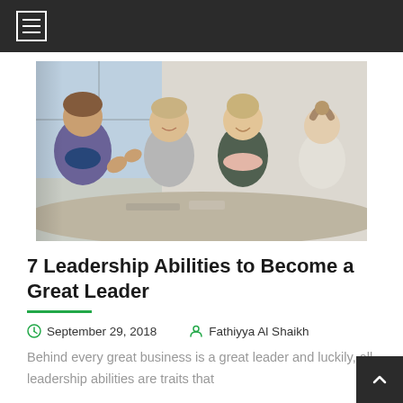[Figure (photo): Four people (three women and one man) sitting around a table in a meeting or discussion, smiling and engaged, indoor office/classroom setting with a window in the background.]
7 Leadership Abilities to Become a Great Leader
September 29, 2018   Fathiyya Al Shaikh
Behind every great business is a great leader and luckily, all leadership abilities are traits that